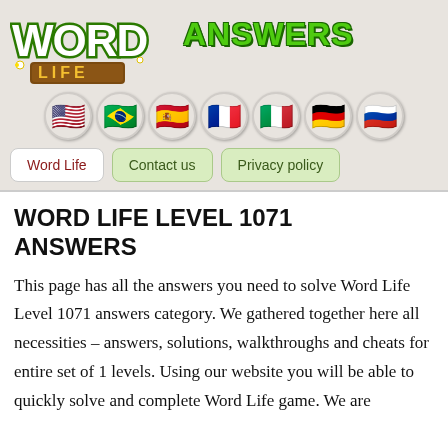[Figure (logo): Word Life game logo with WORD in white letters outlined in green, LIFE on a brown wooden plaque in yellow, flowers and leaves decoration]
[Figure (illustration): Row of 7 circular flag emoji buttons: USA, Brazil, Spain, France, Italy, Germany, Russia]
Word Life
Contact us
Privacy policy
WORD LIFE LEVEL 1071 ANSWERS
This page has all the answers you need to solve Word Life Level 1071 answers category. We gathered together here all necessities – answers, solutions, walkthroughs and cheats for entire set of 1 levels. Using our website you will be able to quickly solve and complete Word Life game. We are